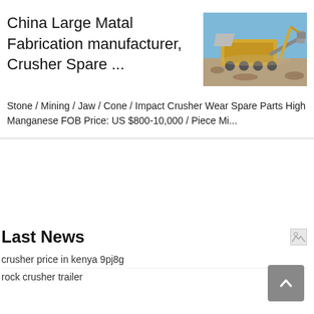China Large Matal Fabrication manufacturer, Crusher Spare ...
[Figure (photo): Photograph of a large rock crusher / mining equipment machine operating outdoors in an arid landscape with a blue sky]
Stone / Mining / Jaw / Cone / Impact Crusher Wear Spare Parts High Manganese FOB Price: US $800-10,000 / Piece Mi...
Last News
crusher price in kenya 9pj8g
rock crusher trailer